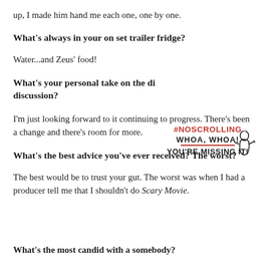up, I made him hand me each one, one by one.
What's always in your on set trailer fridge?
Water...and Zeus' food!
What's your personal take on the di discussion?
[Figure (illustration): #NOSCROLLING graphic with text: WHOA, WHOA! YOU'RE MISSING IT! with a cartoon figure and red underline]
I'm just looking forward to it continuing to progress. There's been a change and there's room for more.
What's the best advice you've ever received? The worst?
The best would be to trust your gut. The worst was when I had a producer tell me that I shouldn't do Scary Movie.
What's the most candid with a somebody?